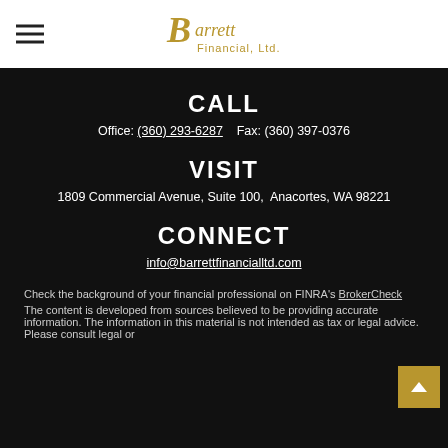[Figure (logo): Barrett Financial, Ltd. logo in gold italic script]
CALL
Office: (360) 293-6287    Fax: (360) 397-0376
VISIT
1809 Commercial Avenue, Suite 100,  Anacortes, WA 98221
CONNECT
info@barrettfinancialltd.com
Check the background of your financial professional on FINRA's BrokerCheck
The content is developed from sources believed to be providing accurate information. The information in this material is not intended as tax or legal advice. Please consult legal or